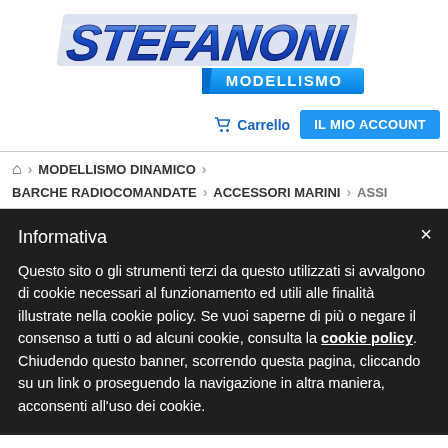[Figure (logo): Stefanoni Modellismo logo with stylized blue italic text 'STEFANONI' and blue rectangle with 'MODELLISMO']
Carrello   IL MIO ACCOUNT
🏠 > MODELLISMO DINAMICO > BARCHE RADIOCOMANDATE > ACCESSORI MARINI > ASSI
Informativa
Questo sito o gli strumenti terzi da questo utilizzati si avvalgono di cookie necessari al funzionamento ed utili alle finalità illustrate nella cookie policy. Se vuoi saperne di più o negare il consenso a tutti o ad alcuni cookie, consulta la cookie policy. Chiudendo questo banner, scorrendo questa pagina, cliccando su un link o proseguendo la navigazione in altra maniera, acconsenti all'uso dei cookie.